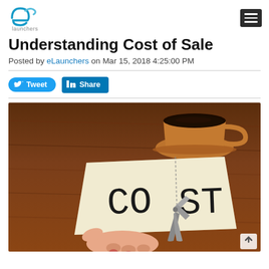eLaunchers
Understanding Cost of Sale
Posted by eLaunchers on Mar 15, 2018 4:25:00 PM
[Figure (other): Tweet and LinkedIn Share social media buttons]
[Figure (photo): A hand holding a piece of paper with the word COST written on it being cut by scissors, with a coffee cup in the background on a wooden table.]